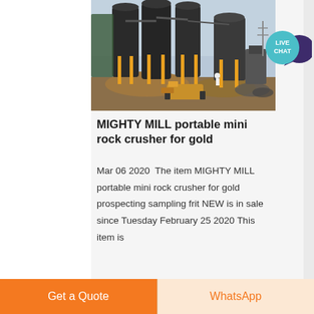[Figure (photo): Industrial facility with large black cylindrical silos/tanks on yellow steel supports, construction equipment (front loader/bulldozer) in foreground moving dirt/gravel, industrial pipes and structures in background under hazy sky]
MIGHTY MILL portable mini rock crusher for gold
Mar 06 2020  The item MIGHTY MILL portable mini rock crusher for gold prospecting sampling frit NEW is in sale since Tuesday February 25 2020 This item is